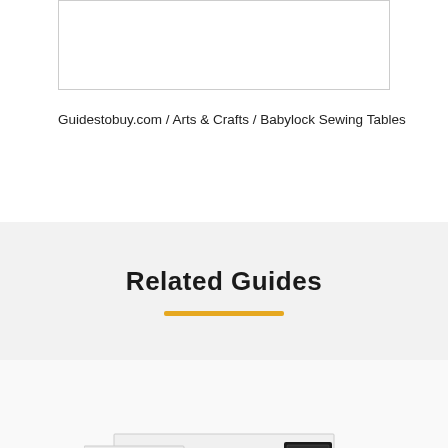[Figure (other): Empty white box with border at top of page, possibly a product image placeholder]
Guidestobuy.com / Arts & Crafts / Babylock Sewing Tables
Related Guides
[Figure (photo): Photo of a sewing table with white top surface, black metal frame legs, a drop-down leaf extension, and a drawer unit on the right side]